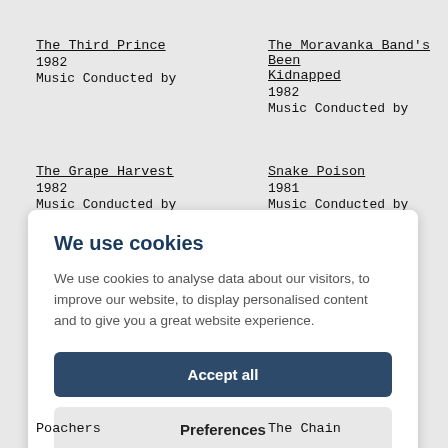The Third Prince
1982
Music Conducted by
The Moravanka Band's Been Kidnapped
1982
Music Conducted by
The Grape Harvest
1982
Music Conducted by
Snake Poison
1981
Music Conducted by
We use cookies
We use cookies to analyse data about our visitors, to improve our website, to display personalised content and to give you a great website experience.
Accept all
Preferences
Poachers
The Chain